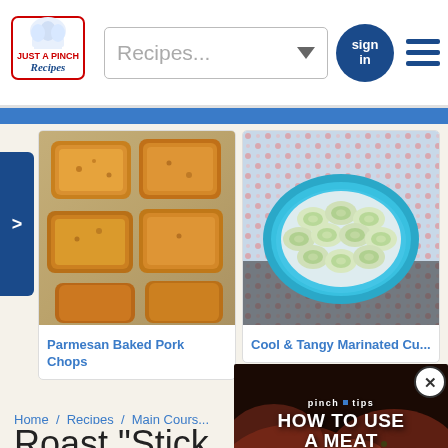[Figure (screenshot): Just A Pinch Recipes logo - blue and red text with chef's hat illustration]
Recipes...
sign in
[Figure (photo): Parmesan Baked Pork Chops - golden breaded pork chops on foil lined baking sheet]
Parmesan Baked Pork Chops
[Figure (photo): Cool & Tangy Marinated Cucumbers - sliced cucumbers in blue square dish with floral napkin]
Cool & Tangy Marinated Cu...
Home / Recipes / Main Cours...
Roast "Stick
★ ★ ★ ★
[Figure (screenshot): Pinch Tips video overlay showing HOW TO USE A MEAT THERMOMETER with play button, close X button in top right]